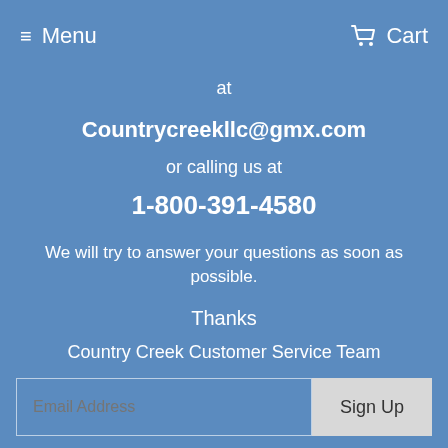Menu  Cart
at
Countrycreekllc@gmx.com
or calling us at
1-800-391-4580
We will try to answer your questions as soon as possible.
Thanks
Country Creek Customer Service Team
NEWSLETTER